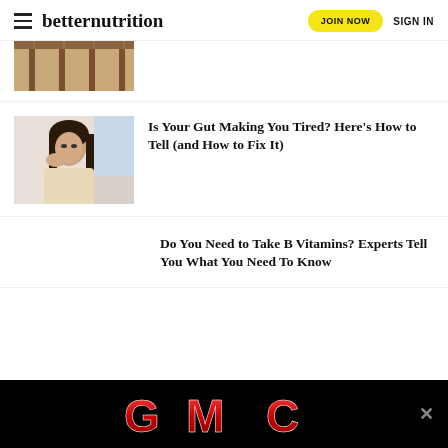betternutrition | JOIN NOW | SIGN IN
[Figure (photo): Partial cropped image of a warm interior scene with hanging items, cropped at top]
[Figure (photo): Woman with dark hair and bangs looking tired, resting her head on her hand while sitting indoors]
Is Your Gut Making You Tired? Here’s How to Tell (and How to Fix It)
Do You Need to Take B Vitamins? Experts Tell You What You Need To Know
[Figure (logo): GMC logo in red metallic letters on black background advertisement banner]